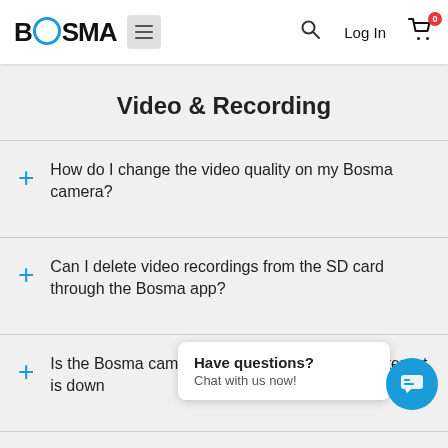BOSMA [menu] [search] Log In [cart 0]
Video & Recording
+ How do I change the video quality on my Bosma camera?
+ Can I delete video recordings from the SD card through the Bosma app?
+ Is the Bosma camera still recording when the internet is down
+ What happens when the micro SD card in my
Have questions? Chat with us now!